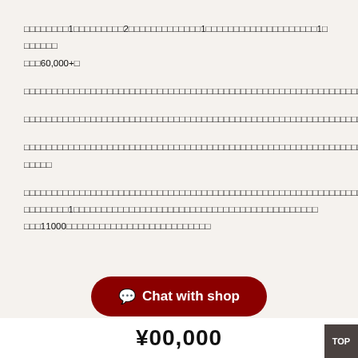□□□□□□□□1□□□□□□□□□2□□□□□□□□□□□□□1□□□□□□□□□□□□□□□□□□□□1□
□□□□□□
□□□60,000+□
□□□□□□□□□□□□□□□□□□□□□□□□□□□□□□□□□□□□□□□□□□□□□□□□□□□□□□□□□□□□□□□□□□□□□□□□□□□□□□□□□□□□
□□□□□□□□□□□□□□□□□□□□□□□□□□□□□□□□□□□□□□□□□□□□□□□□□□□□□□□□□□□□□□□□□□□□□□□□□□□□□□
□□□□□□□□□□□□□□□□□□□□□□□□□□□□□□□□□□□□□□□□□□□□□□□□□□□□□□□□□□□□□□□□□□□□□□□□□□□□□□□□□□□□□□□□□□□□□□□□□□□□□□□□□□□□□□□□□□□□□□□□□□□□□□□□□□□□□□□□□□□□□□□□□□□□□□□□□□□□□□□□□□□□□□□□□□□□□□□□□□□□□□□□□□□□□□□□□□□□□□□□□□□□□□
□□□□□
□□□□□□□□□□□□□□□□□□□□□□□□□□□□□□□□□□□□□□□□□□□□□□□□□□□□□□□□□□□□□□□□□□□□□□□□□□□□□□□□□□□□□□□□□□□□□□□□□□□□□□□□□□□□□□□□□□□□□□□□□□□□□□□□□□□□□□□□□□□□□□
□□□□□□□□1□□□□□□□□□□□□□□□□□□□□□□□□□□□□□□□□□□□□□□□□
□□□11000□□□□□□□□□□□□□□□□□□□□□□□□□□
💬 Chat with shop
¥00,000